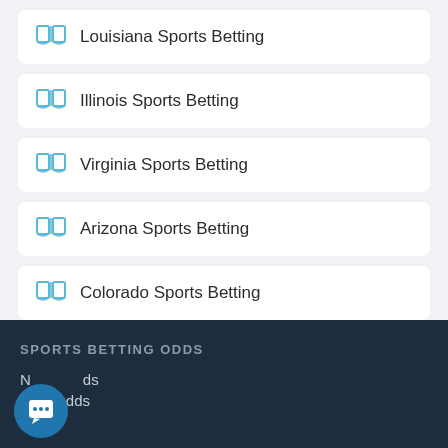Louisiana Sports Betting
Illinois Sports Betting
Virginia Sports Betting
Arizona Sports Betting
Colorado Sports Betting
SPORTS BETTING ODDS
N...ds
NBA Odds